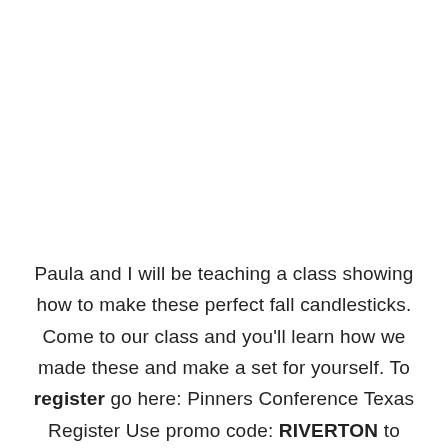Paula and I will be teaching a class showing how to make these perfect fall candlesticks. Come to our class and you'll learn how we made these and make a set for yourself. To register go here: Pinners Conference Texas Register Use promo code: RIVERTON to save 10% on